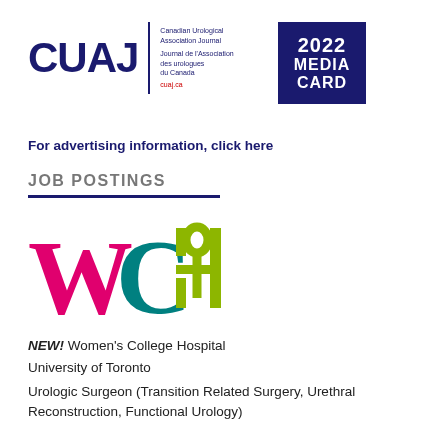[Figure (logo): CUAJ (Canadian Urological Association Journal) logo with 2022 Media Card badge]
For advertising information, click here
JOB POSTINGS
[Figure (logo): WCH (Women's College Hospital) logo in pink, teal, and olive green]
NEW! Women's College Hospital
University of Toronto
Urologic Surgeon (Transition Related Surgery, Urethral Reconstruction, Functional Urology)